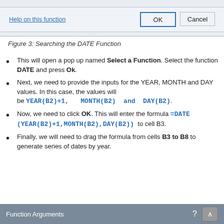[Figure (screenshot): Top portion of a dialog box showing 'Help on this function' link and OK/Cancel buttons on a light blue-grey background]
Figure 3: Searching the DATE Function
This will open a pop up named Select a Function. Select the function DATE and press Ok.
Next, we need to provide the inputs for the YEAR, MONTH and DAY values. In this case, the values will be YEAR(B2)+1,  MONTH(B2)  and  DAY(B2).
Now, we need to click OK. This will enter the formula =DATE(YEAR(B2)+1,MONTH(B2),DAY(B2))  to cell B3.
Finally, we will need to drag the formula from cells B3 to B8 to generate series of dates by year.
[Figure (screenshot): Bottom bar showing 'Function Arguments' dialog title bar with grey background, question mark icon, and close button]